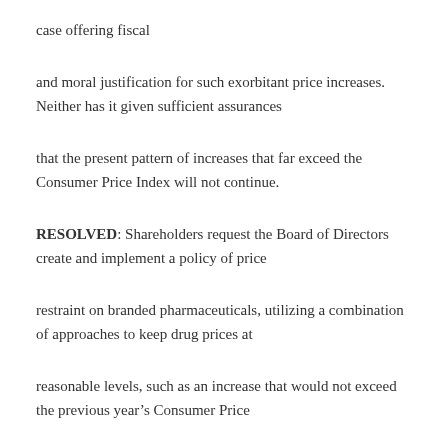case offering fiscal
and moral justification for such exorbitant price increases. Neither has it given sufficient assurances
that the present pattern of increases that far exceed the Consumer Price Index will not continue.
RESOLVED: Shareholders request the Board of Directors create and implement a policy of price
restraint on branded pharmaceuticals, utilizing a combination of approaches to keep drug prices at
reasonable levels, such as an increase that would not exceed the previous year’s Consumer Price